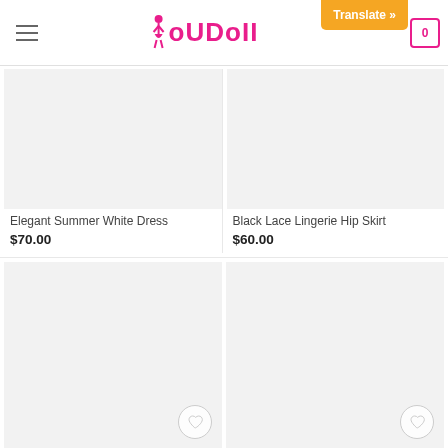IoUDoII — Translate » [cart: 0]
Elegant Summer White Dress
$70.00
Black Lace Lingerie Hip Skirt
$60.00
[Figure (photo): Empty product image placeholder (light grey) for bottom-left product]
[Figure (photo): Empty product image placeholder (light grey) for bottom-right product]